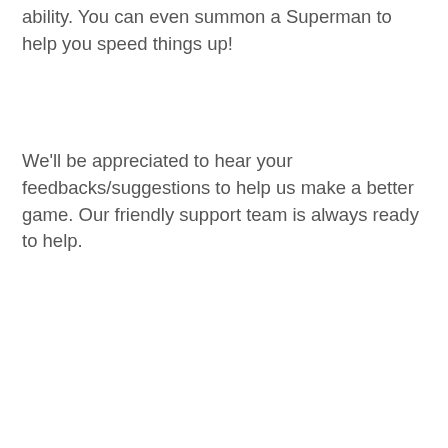ability. You can even summon a Superman to help you speed things up!
We'll be appreciated to hear your feedbacks/suggestions to help us make a better game. Our friendly support team is always ready to help.